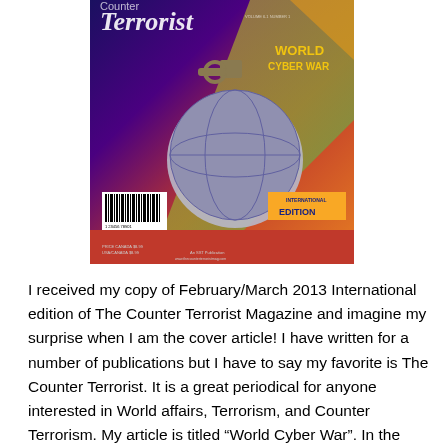[Figure (photo): Cover of The Counter Terrorist Magazine, February/March 2013 International Edition, featuring a grenade styled as a globe against a colorful gradient background, with 'WORLD CYBER WAR' text and 'INTERNATIONAL EDITION' badge]
I received my copy of February/March 2013 International edition of The Counter Terrorist Magazine and imagine my surprise when I am the cover article!  I have written for a number of publications but I have to say my favorite is The Counter Terrorist.  It is a great periodical for anyone interested in World affairs, Terrorism, and Counter Terrorism.  My article is titled “World Cyber War”.  In the article I talk about the differences in the perspectives of